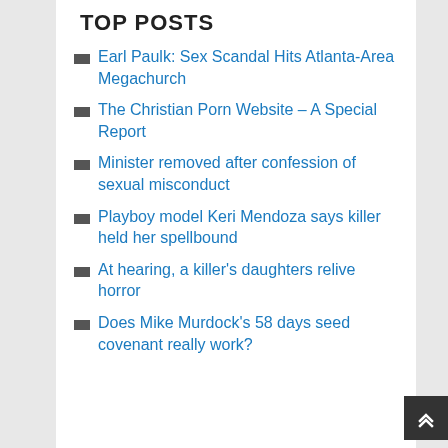TOP POSTS
Earl Paulk: Sex Scandal Hits Atlanta-Area Megachurch
The Christian Porn Website - A Special Report
Minister removed after confession of sexual misconduct
Playboy model Keri Mendoza says killer held her spellbound
At hearing, a killer's daughters relive horror
Does Mike Murdock's 58 days seed covenant really work?